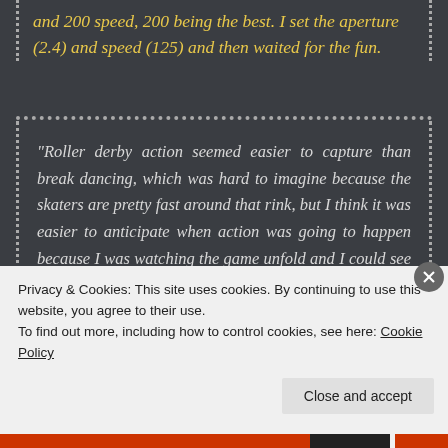and 200 speed, 200 being the best. I set the aperture (2.4) and speed (125) and then waited for the fun.
“Roller derby action seemed easier to capture than break dancing, which was hard to imagine because the skaters are pretty fast around that rink, but I think it was easier to anticipate when action was going to happen because I was watching the game unfold and I could see the jammers coming up to the blockers. When the players all get together you can tell there’s gonna be business.”
“I love the unpredictability of it. And I also love being a part
Privacy & Cookies: This site uses cookies. By continuing to use this website, you agree to their use.
To find out more, including how to control cookies, see here: Cookie Policy